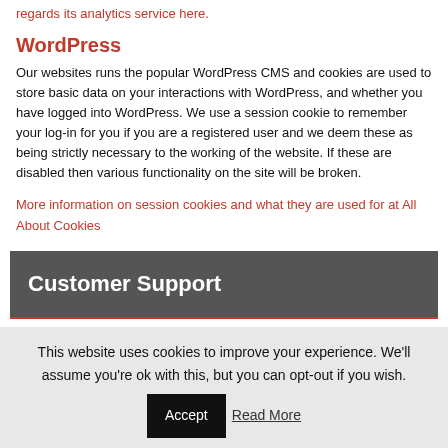regards its analytics service here.
WordPress
Our websites runs the popular WordPress CMS and cookies are used to store basic data on your interactions with WordPress, and whether you have logged into WordPress. We use a session cookie to remember your log-in for you if you are a registered user and we deem these as being strictly necessary to the working of the website. If these are disabled then various functionality on the site will be broken.
More information on session cookies and what they are used for at All About Cookies
Customer Support
This website uses cookies to improve your experience. We'll assume you're ok with this, but you can opt-out if you wish. Accept Read More